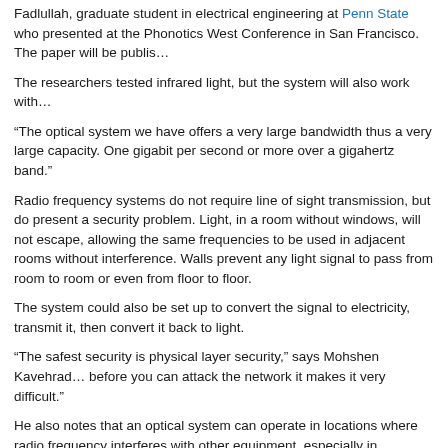Fadlullah, graduate student in electrical engineering at Penn State who presented at the Phonotics West Conference in San Francisco. The paper will be publis…
The researchers tested infrared light, but the system will also work with…
“The optical system we have offers a very large bandwidth thus a very large capacity. One gigabit per second or more over a gigahertz band.”
Radio frequency systems do not require line of sight transmission, but do present a security problem. Light, in a room without windows, will not escape, allowing the same frequencies to be used in adjacent rooms without interference. Walls prevent any light signal to pass from room to room or even from floor to floor.
The system could also be set up to convert the signal to electricity, transmit it, then convert it back to light.
“The safest security is physical layer security,” says Mohshen Kavehrad… before you can attack the network it makes it very difficult.”
He also notes that an optical system can operate in locations where radio frequency interferes with other equipment, especially in hospitals, aircraft and even some factories, since light does not interfere with the radio frequency emissions of navigation equipment…
Optical transmissions can transfer sensor data and unlike radio freque…